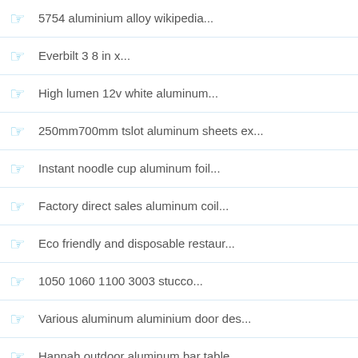5754 aluminium alloy wikipedia...
Everbilt 3 8 in x...
High lumen 12v white aluminum...
250mm700mm tslot aluminum sheets ex...
Instant noodle cup aluminum foil...
Factory direct sales aluminum coil...
Eco friendly and disposable restaur...
1050 1060 1100 3003 stucco...
Various aluminum aluminium door des...
Hannah outdoor aluminum bar table...
Wood color lightweight aluminum hon...
6063 aluminium alloy plate sheet...